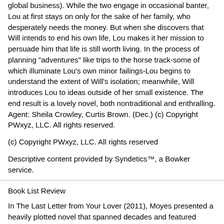global business). While the two engage in occasional banter, Lou at first stays on only for the sake of her family, who desperately needs the money. But when she discovers that Will intends to end his own life, Lou makes it her mission to persuade him that life is still worth living. In the process of planning "adventures" like trips to the horse track-some of which illuminate Lou's own minor failings-Lou begins to understand the extent of Will's isolation; meanwhile, Will introduces Lou to ideas outside of her small existence. The end result is a lovely novel, both nontraditional and enthralling. Agent: Sheila Crowley, Curtis Brown. (Dec.) (c) Copyright PWxyz, LLC. All rights reserved.
(c) Copyright PWxyz, LLC. All rights reserved
Descriptive content provided by Syndetics™, a Bowker service.
Book List Review
In The Last Letter from Your Lover (2011), Moyes presented a heavily plotted novel that spanned decades and featured parallel romances. Her newest work dials down the intricacy, and the result is a far more intimate novel. Moyes introduces us first to Will Traynor, a formerly high-flying, thrill-seeking executive now confined to a wheelchair as a quadriplegic. Twentysomething